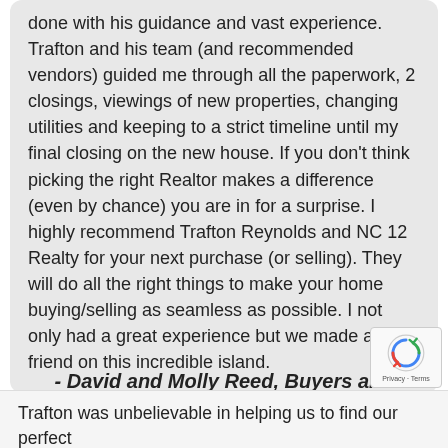done with his guidance and vast experience. Trafton and his team (and recommended vendors) guided me through all the paperwork, 2 closings, viewings of new properties, changing utilities and keeping to a strict timeline until my final closing on the new house. If you don't think picking the right Realtor makes a difference (even by chance) you are in for a surprise. I highly recommend Trafton Reynolds and NC 12 Realty for your next purchase (or selling). They will do all the right things to make your home buying/selling as seamless as possible. I not only had a great experience but we made a new friend on this incredible island.
- David and Molly Reed, Buyers and Sellers
Trafton was unbelievable in helping us to find our perfect